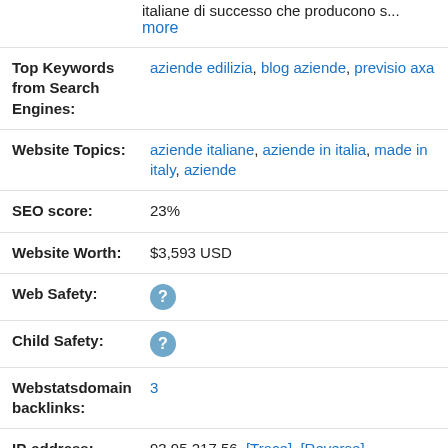italiane di successo che producono s... more
Top Keywords from Search Engines: aziende edilizia, blog aziende, previsio axa
Website Topics: aziende italiane, aziende in italia, made in italy, aziende
SEO score: 23%
Website Worth: $3,593 USD
Web Safety: [?]
Child Safety: [?]
Webstatsdomain backlinks: 3
IP-address: 93.95.217.56 [Trace] [Reverse]
Daily Pageviews: n\a
Contact information: try to find contact info in whois information
Load Time: 2.34 seconds